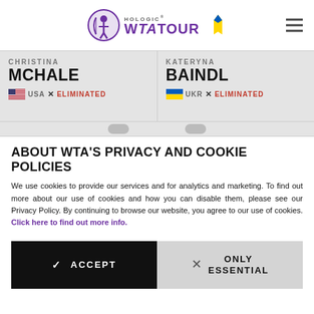Hologic WTA Tour
CHRISTINA MCHALE USA × ELIMINATED
KATERYNA BAINDL UKR × ELIMINATED
ABOUT WTA'S PRIVACY AND COOKIE POLICIES
We use cookies to provide our services and for analytics and marketing. To find out more about our use of cookies and how you can disable them, please see our Privacy Policy. By continuing to browse our website, you agree to our use of cookies. Click here to find out more info.
✓ ACCEPT
× ONLY ESSENTIAL